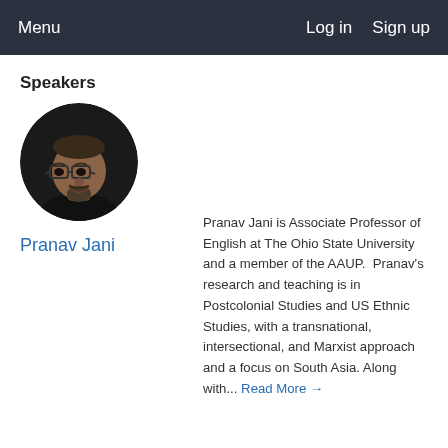Menu   Log in   Sign up
Speakers
[Figure (photo): Circular profile photo of Pranav Jani, a middle-aged man with glasses and a goatee, wearing a dark shirt, against a dark background.]
Pranav Jani
Pranav Jani is Associate Professor of English at The Ohio State University and a member of the AAUP.  Pranav's research and teaching is in Postcolonial Studies and US Ethnic Studies, with a transnational, intersectional, and Marxist approach and a focus on South Asia. Along with... Read More →